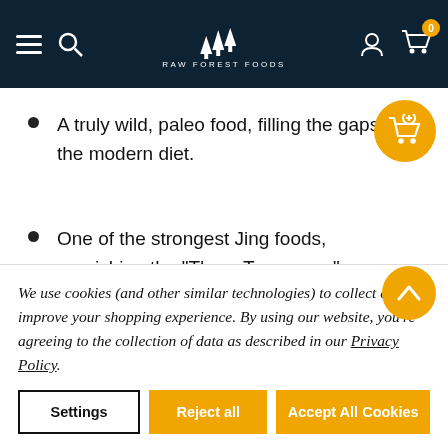RAW FOREST FOODS
A truly wild, paleo food, filling the gaps in the modern diet.
One of the strongest Jing foods, nourishing the "Three Treasures."
What Others Are Saying About Black Ants?
We use cookies (and other similar technologies) to collect data to improve your shopping experience. By using our website, you're agreeing to the collection of data as described in our Privacy Policy.